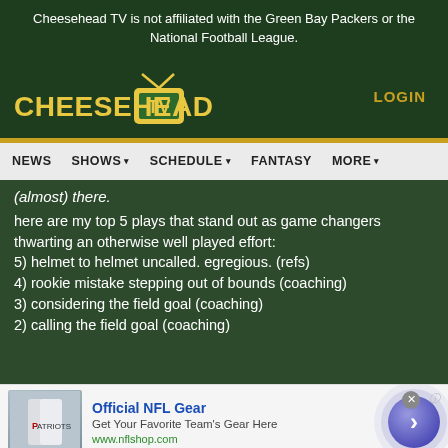Cheesehead TV is not affiliated with the Green Bay Packers or the National Football League.
[Figure (logo): Cheesehead TV logo with yellow text and green TV icon]
LOGIN
NEWS  SHOWS  SCHEDULE  FANTASY  MORE
(almost) there.
here are my top 5 plays that stand out as game changers thwarting an otherwise well played effort:
5) helmet to helmet uncalled. egregious. (refs)
4) rookie mistake stepping out of bounds (coaching)
3) considering the field goal (coaching)
2) calling the field goal (coaching)
[Figure (infographic): Advertisement for Official NFL Gear from nflshop.com with jersey image and navigation arrow]